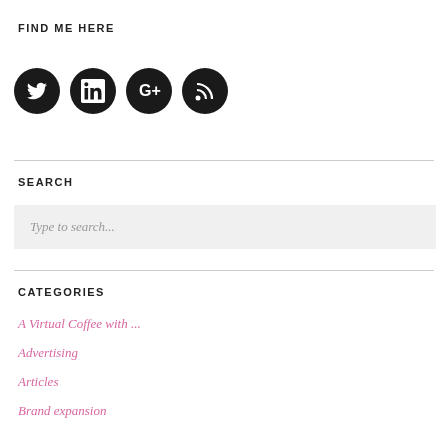FIND ME HERE
[Figure (infographic): Four black circular social media icons: Twitter, LinkedIn, Google+, RSS feed]
SEARCH
Type to search...
CATEGORIES
A Virtual Coffee with ...
Advertising
Articles
Brand expansion